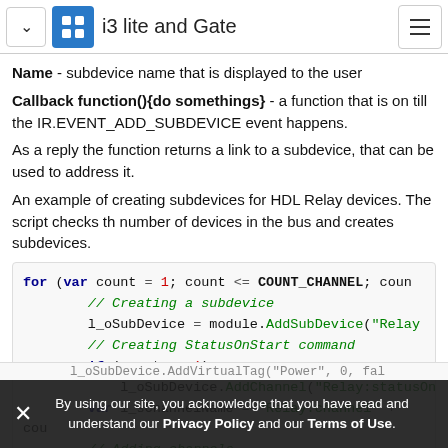i3 lite and Gate
Name - subdevice name that is displayed to the user
Callback function(){do somethings} - a function that is on till the IR.EVENT_ADD_SUBDEVICE event happens.
As a reply the function returns a link to a subdevice, that can be used to address it.
An example of creating subdevices for HDL Relay devices. The script checks th number of devices in the bus and creates subdevices.
[Figure (screenshot): Code block showing JavaScript/scripting code for creating subdevices with AddSubDevice and AddChannel calls]
By using our site, you acknowledge that you have read and understand our Privacy Policy and our Terms of Use.